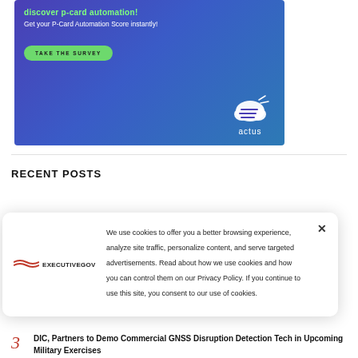[Figure (illustration): Actus advertisement banner with purple/blue gradient background, text 'Get your P-Card Automation Score instantly!', a green 'TAKE THE SURVEY' button, and the Actus logo (cloud icon with lines)]
RECENT POSTS
We use cookies to offer you a better browsing experience, analyze site traffic, personalize content, and serve targeted advertisements. Read about how we use cookies and how you can control them on our Privacy Policy. If you continue to use this site, you consent to our use of cookies.
3 DIC, Partners to Demo Commercial GNSS Disruption Detection Tech in Upcoming Military Exercises